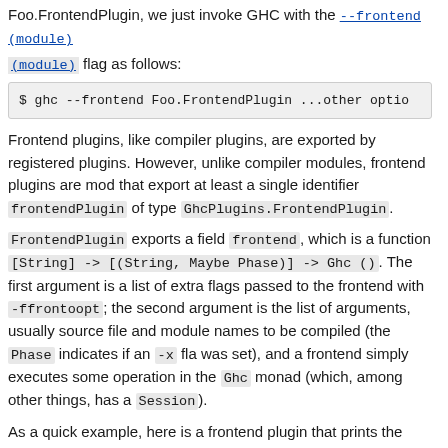Foo.FrontendPlugin, we just invoke GHC with the --frontend(module) flag as follows:
$ ghc --frontend Foo.FrontendPlugin ...other optio
Frontend plugins, like compiler plugins, are exported by registered plugins. However, unlike compiler modules, frontend plugins are mod that export at least a single identifier frontendPlugin of type GhcPlugins.FrontendPlugin.
FrontendPlugin exports a field frontend, which is a function [String] -> [(String, Maybe Phase)] -> Ghc (). The first argument is a list of extra flags passed to the frontend with -ffrontopt; the second argument is the list of arguments, usually source file and module names to be compiled (the Phase indicates if an -x flag was set), and a frontend simply executes some operation in the Ghc monad (which, among other things, has a Session).
As a quick example, here is a frontend plugin that prints the arguments that were passed to it, and then exits.
module DoNothing.FrontendPlugin (frontendPlugin) w
import GhcPlugins